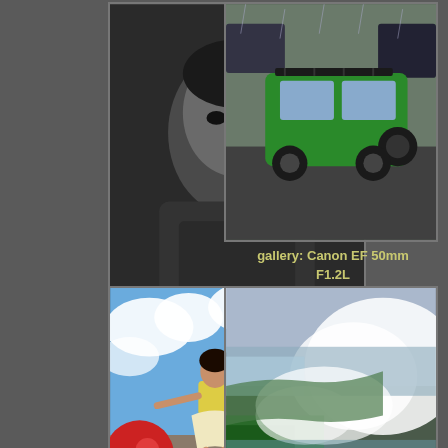[Figure (photo): Black and white portrait photo of a young Asian boy wearing a hoodie, looking directly at camera]
gallery: Canon EF 85mm f1.2L
[Figure (photo): Color photo of a green FJ Cruiser SUV parked on a wet street in the rain]
gallery: Canon EF 50mm F1.2L
[Figure (photo): Color photo of a young girl in yellow top and skirt standing with arms outstretched against a blue sky with clouds]
gallery: Canon EF 16-35mm f2.8L
[Figure (photo): Color photo of Niagara Falls with mist rising and green trees visible]
gallery: Canon EF 16-35mm f2.8L II